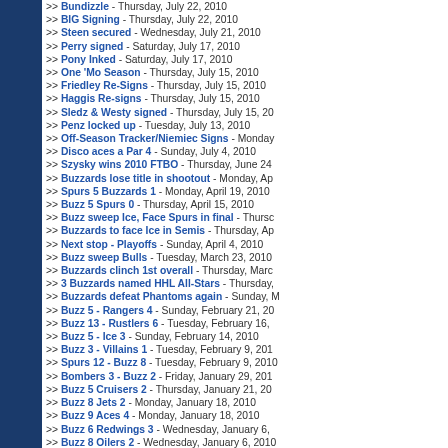>> Bundizzle - Thursday, July 22, 2010
>> BIG Signing - Thursday, July 22, 2010
>> Steen secured - Wednesday, July 21, 2010
>> Perry signed - Saturday, July 17, 2010
>> Pony Inked - Saturday, July 17, 2010
>> One 'Mo Season - Thursday, July 15, 2010
>> Friedley Re-Signs - Thursday, July 15, 2010
>> Haggis Re-signs - Thursday, July 15, 2010
>> Sledz & Westy signed - Thursday, July 15, 20...
>> Penz locked up - Tuesday, July 13, 2010
>> Off-Season Tracker/Niemiec Signs - Monday...
>> Disco aces a Par 4 - Sunday, July 4, 2010
>> Szysky wins 2010 FTBO - Thursday, June 24...
>> Buzzards lose title in shootout - Monday, Ap...
>> Spurs 5 Buzzards 1 - Monday, April 19, 2010
>> Buzz 5 Spurs 0 - Thursday, April 15, 2010
>> Buzz sweep Ice, Face Spurs in final - Thursc...
>> Buzzards to face Ice in Semis - Thursday, Ap...
>> Next stop - Playoffs - Sunday, April 4, 2010
>> Buzz sweep Bulls - Tuesday, March 23, 2010
>> Buzzards clinch 1st overall - Thursday, Marc...
>> 3 Buzzards named HHL All-Stars - Thursday,...
>> Buzzards defeat Phantoms again - Sunday, M...
>> Buzz 5 - Rangers 4 - Sunday, February 21, 20...
>> Buzz 13 - Rustlers 6 - Tuesday, February 16,...
>> Buzz 5 - Ice 3 - Sunday, February 14, 2010
>> Buzz 3 - Villains 1 - Tuesday, February 9, 201...
>> Spurs 12 - Buzz 8 - Tuesday, February 9, 2010
>> Bombers 3 - Buzz 2 - Friday, January 29, 201...
>> Buzz 5 Cruisers 2 - Thursday, January 21, 20...
>> Buzz 8 Jets 2 - Monday, January 18, 2010
>> Buzz 9 Aces 4 - Monday, January 18, 2010
>> Buzz 6 Redwings 3 - Wednesday, January 6,...
>> Buzz 8 Oilers 2 - Wednesday, January 6, 2010
>> Buzz 12 - Stars 3 - Tuesday, December 22, 20...
>> Buzz 9 Bulldogs 0 - Monday, December 21, 2...
>> Helper closing in on 400 - Thursday, Decemb...
>> Buzz 7 - Bulls 4 - Monday, December 14, 200...